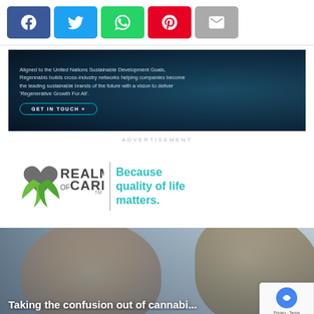[Figure (screenshot): Social share buttons row: Facebook (blue), Twitter (light blue), WhatsApp (green), Pinterest (red), Email (grey)]
[Figure (screenshot): Advertisement banner for Regennabis with text about UN Sustainable Development Goals and GET IN TOUCH button on dark blue aerial city background]
ADVERTISEMENT
[Figure (logo): Realm of Caring logo with green leaf heart icon and text REALM OF CARING TM, tagline: Because quality of life matters.]
[Figure (photo): Photo of a smiling boy with a woman (partially visible), with text overlay: Taking the confusion out of cannabi...]
ADVERTISEMENT